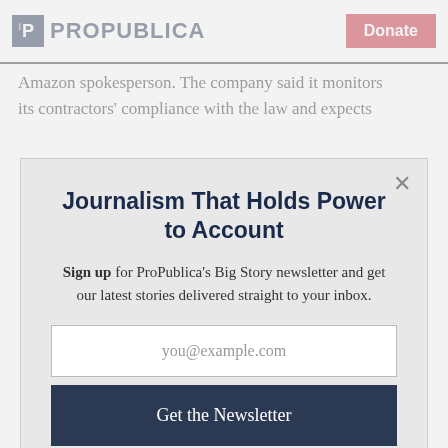ProPublica | Donate
Amazon spokesperson. The company said it monitors its contractors' compliance with the law and expects
Journalism That Holds Power to Account
Sign up for ProPublica's Big Story newsletter and get our latest stories delivered straight to your inbox.
you@example.com
Get the Newsletter
No thanks, I'm all set
This site is protected by reCAPTCHA and the Google Privacy Policy and Terms of Service apply.